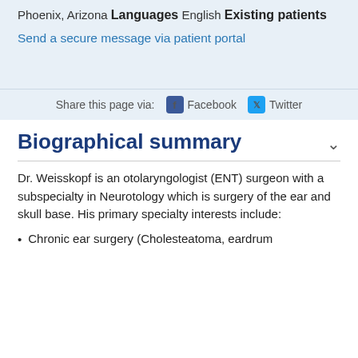Phoenix, Arizona
Languages
English
Existing patients
Send a secure message via patient portal
Share this page via:  Facebook  Twitter
Biographical summary
Dr. Weisskopf is an otolaryngologist (ENT) surgeon with a subspecialty in Neurotology which is surgery of the ear and skull base. His primary specialty interests include:
Chronic ear surgery (Cholesteatoma, eardrum